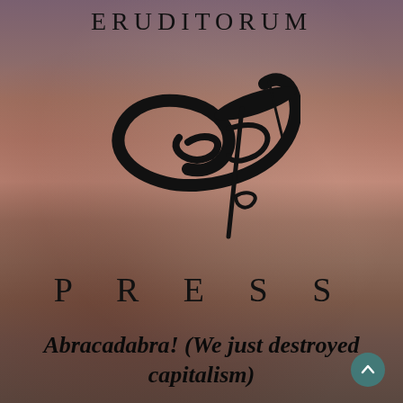ERUDITORUM
[Figure (logo): Eruditorum Press stylized 'EP' logo in black calligraphic script with pen nib]
P R E S S
Abracadabra! (We just destroyed capitalism)